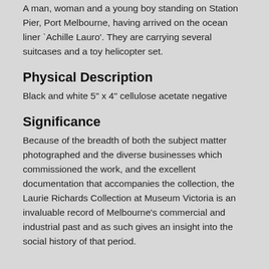A man, woman and a young boy standing on Station Pier, Port Melbourne, having arrived on the ocean liner `Achille Lauro'. They are carrying several suitcases and a toy helicopter set.
Physical Description
Black and white 5" x 4" cellulose acetate negative
Significance
Because of the breadth of both the subject matter photographed and the diverse businesses which commissioned the work, and the excellent documentation that accompanies the collection, the Laurie Richards Collection at Museum Victoria is an invaluable record of Melbourne's commercial and industrial past and as such gives an insight into the social history of that period.